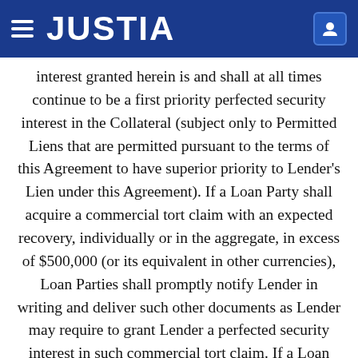JUSTIA
interest granted herein is and shall at all times continue to be a first priority perfected security interest in the Collateral (subject only to Permitted Liens that are permitted pursuant to the terms of this Agreement to have superior priority to Lender’s Lien under this Agreement). If a Loan Party shall acquire a commercial tort claim with an expected recovery, individually or in the aggregate, in excess of $500,000 (or its equivalent in other currencies), Loan Parties shall promptly notify Lender in writing and deliver such other documents as Lender may require to grant Lender a perfected security interest in such commercial tort claim. If a Loan Party shall acquire a certificate with respect to Shares, or any instrument with a value, individually or in the aggregate, in excess of $500,000 (or its equivalent in other currencies), such Loan Party shall promptly notify Lender and